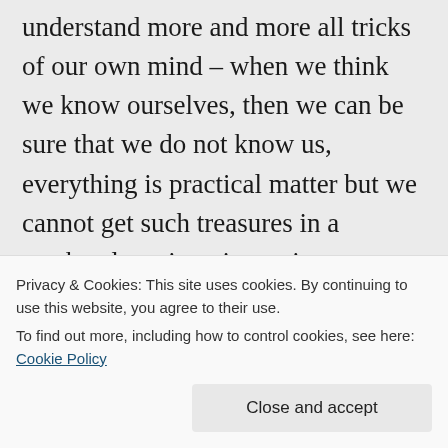understand more and more all tricks of our own mind – when we think we know ourselves, then we can be sure that we do not know us, everything is practical matter but we cannot get such treasures in a weekend seminar, in putting our attention every now and then into: “Man know thyself” – this has to be done the whole life – to become more and more conscious.

So, my dear friend, do not be disappointed
Stay happy and healthy
Privacy & Cookies: This site uses cookies. By continuing to use this website, you agree to their use.
To find out more, including how to control cookies, see here: Cookie Policy